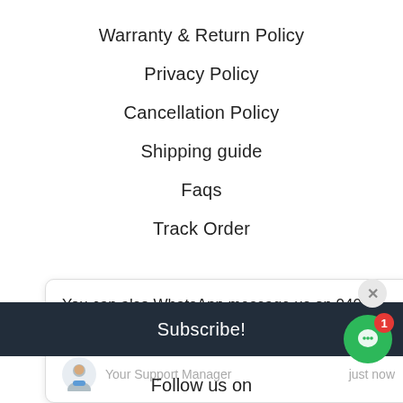Warranty & Return Policy
Privacy Policy
Cancellation Policy
Shipping guide
Faqs
Track Order
You can also WhatsApp message us on 0401 900 449
Your Support Manager    just now
Subscribe!
Follow us on